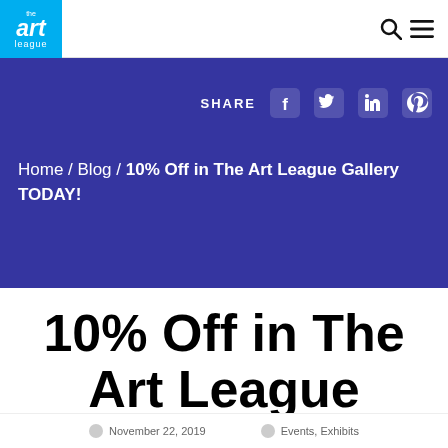the art league
[Figure (logo): The Art League logo — white text on cyan/blue background]
SHARE
Home / Blog / 10% Off in The Art League Gallery TODAY!
10% Off in The Art League Gallery TODAY!
November 22, 2019   Events, Exhibits